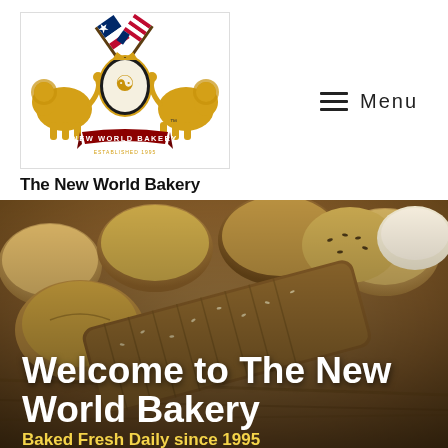[Figure (logo): The New World Bakery logo: two crossed flags (Texas and USA), two golden lions, a pretzel/crest shield, and a red banner reading 'NEW WORLD BAKERY ESTABLISHED 1995']
The New World Bakery
[Figure (other): Navigation menu button with three horizontal lines and the word 'Menu']
[Figure (photo): Hero photo of assorted breads and rolls — sliced whole grain loaf, round rolls with sesame/poppy seeds, and other artisan breads on a wooden surface]
Welcome to The New World Bakery
Baked Fresh Daily since 1995